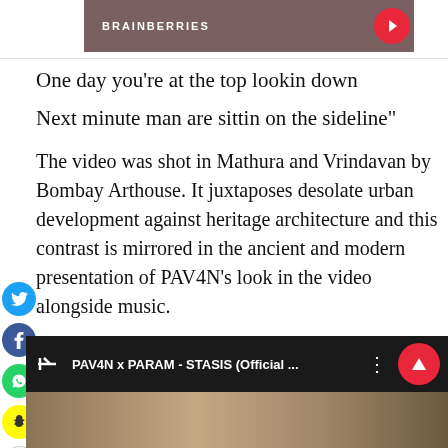[Figure (screenshot): Brainberries advertisement banner with dark brownish-red background, white text 'BRAINBERRIES', and red circular arrow button on right]
One day you're at the top lookin down
Next minute man are sittin on the sideline"
The video was shot in Mathura and Vrindavan by Bombay Arthouse. It juxtaposes desolate urban development against heritage architecture and this contrast is mirrored in the ancient and modern presentation of PAV4N’s look in the video alongside music.
Watch the video here:
[Figure (screenshot): Video thumbnail showing black bar with music icon, text 'PAV4N x PARAM - STASIS (Official ...', three dots menu, and red circular up arrow button. Below is a partial image preview.]